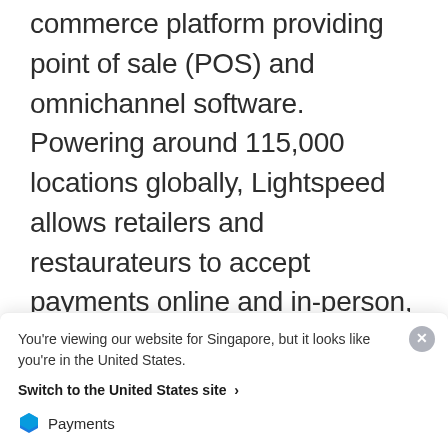Lightspeed (NYSE: LSPD) is an advanced commerce platform providing point of sale (POS) and omnichannel software. Powering around 115,000 locations globally, Lightspeed allows retailers and restaurateurs to accept payments online and in-person, manage their operations, and get up and running quickly
[Figure (logo): Lightspeed logo: red/orange flame icon on left, 'lightspeed' wordmark in dark text on right]
Products used
You're viewing our website for Singapore, but it looks like you're in the United States.
Switch to the United States site ›